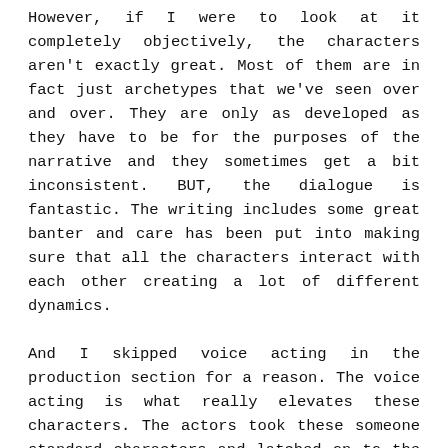However, if I were to look at it completely objectively, the characters aren't exactly great. Most of them are in fact just archetypes that we've seen over and over. They are only as developed as they have to be for the purposes of the narrative and they sometimes get a bit inconsistent. BUT, the dialogue is fantastic. The writing includes some great banter and care has been put into making sure that all the characters interact with each other creating a lot of different dynamics.
And I skipped voice acting in the production section for a reason. The voice acting is what really elevates these characters. The actors took these someone standard characters and latched on to the great lines and brought these people to life. These are a group of high school kids that have become great friends through shared hardships. I have no doubt about that. Because I could